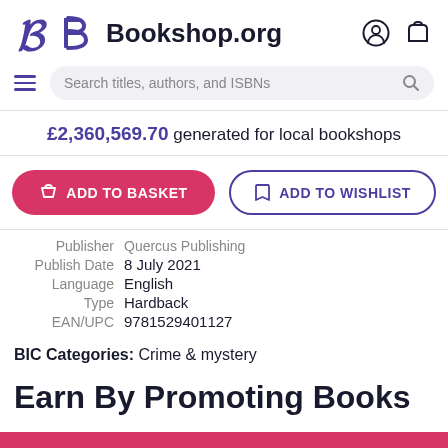Bookshop.org
£2,360,569.70 generated for local bookshops
ADD TO BASKET | ADD TO WISHLIST
| Label | Value |
| --- | --- |
| Publisher | Quercus Publishing |
| Publish Date | 8 July 2021 |
| Language | English |
| Type | Hardback |
| EAN/UPC | 9781529401127 |
BIC Categories: Crime & mystery
Earn By Promoting Books